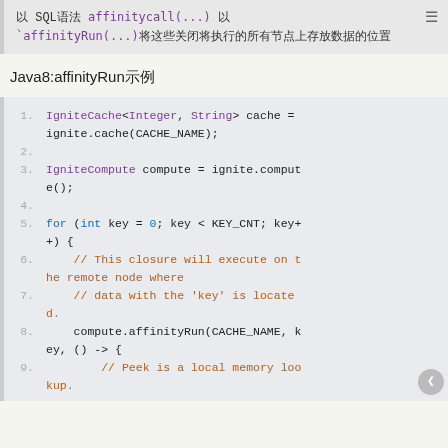以 SQL语法 affinitycall(...) 以 `affinityRun(...)将这些关闭将执行的所有节点上存放数据的位置
Java8:affinityRun示例
[Figure (screenshot): Java 8 code block showing affinityRun example with IgniteCache, IgniteCompute, for loop, and compute.affinityRun call with lambda]